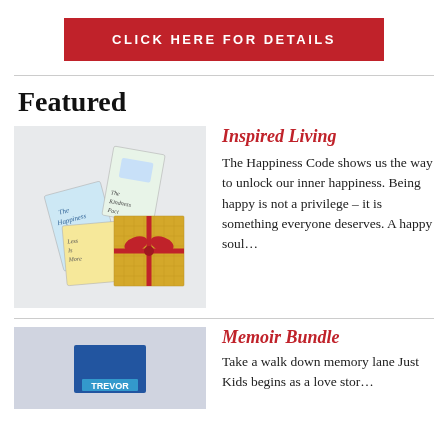[Figure (other): Red button with white text: CLICK HERE FOR DETAILS]
Featured
[Figure (photo): Photo of several book covers and a gift-wrapped box with red ribbon on a light background]
Inspired Living
The Happiness Code shows us the way to unlock our inner happiness. Being happy is not a privilege – it is something everyone deserves. A happy soul…
[Figure (photo): Photo partially visible showing a blue label with TREVOR text, likely a book cover]
Memoir Bundle
Take a walk down memory lane Just Kids begins as a love stor…